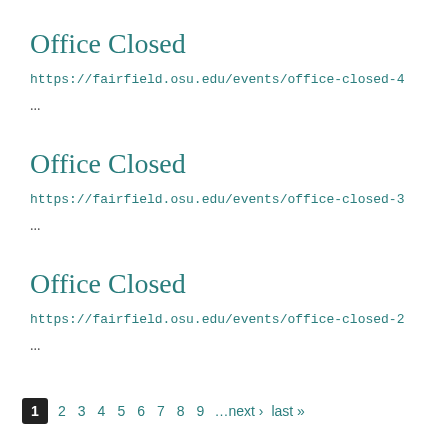Office Closed
https://fairfield.osu.edu/events/office-closed-4
...
Office Closed
https://fairfield.osu.edu/events/office-closed-3
...
Office Closed
https://fairfield.osu.edu/events/office-closed-2
...
1  2  3  4  5  6  7  8  9  …next ›  last »